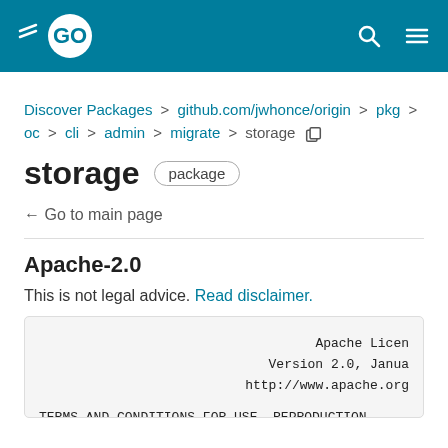Go (golang.org) navigation bar
Discover Packages > github.com/jwhonce/origin > pkg > oc > cli > admin > migrate > storage
storage package
← Go to main page
Apache-2.0
This is not legal advice. Read disclaimer.
Apache License
Version 2.0, January
http://www.apache.org

TERMS AND CONDITIONS FOR USE, REPRODUCTION